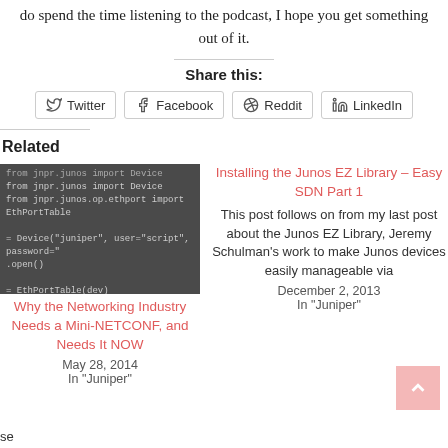do spend the time listening to the podcast, I hope you get something out of it.
Share this:
Twitter  Facebook  Reddit  LinkedIn
Related
[Figure (screenshot): Code snippet on dark background showing jnpr.junos import Device, jnpr.junos.op.ethport import EthPortTable, Device and EthPortTable usage]
Why the Networking Industry Needs a Mini-NETCONF, and Needs It NOW
May 28, 2014
In "Juniper"
Installing the Junos EZ Library – Easy SDN Part 1
This post follows on from my last post about the Junos EZ Library, Jeremy Schulman's work to make Junos devices easily manageable via
December 2, 2013
In "Juniper"
se